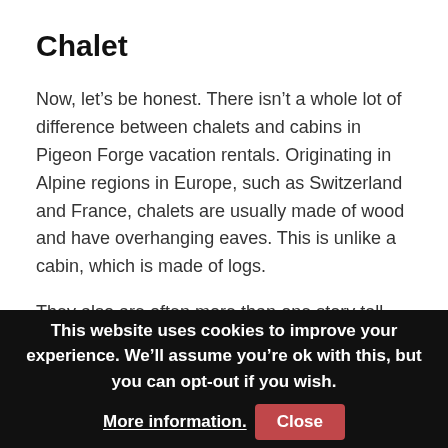Chalet
Now, let’s be honest. There isn’t a whole lot of difference between chalets and cabins in Pigeon Forge vacation rentals. Originating in Alpine regions in Europe, such as Switzerland and France, chalets are usually made of wood and have overhanging eaves. This is unlike a cabin, which is made of logs.
They also are often more than one story tall, but that’s not always the case. In Pigeon Forge, you can expect your chalet to be smaller than your average cabin – they’re great for a
This website uses cookies to improve your experience. We’ll assume you’re ok with this, but you can opt-out if you wish. More information. Close